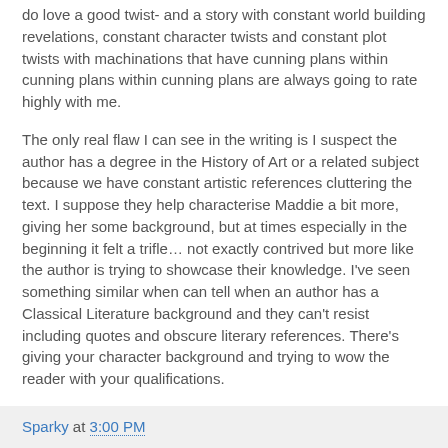do love a good twist- and a story with constant world building revelations, constant character twists and constant plot twists with machinations that have cunning plans within cunning plans within cunning plans are always going to rate highly with me.
The only real flaw I can see in the writing is I suspect the author has a degree in the History of Art or a related subject because we have constant artistic references cluttering the text. I suppose they help characterise Maddie a bit more, giving her some background, but at times especially in the beginning it felt a trifle… not exactly contrived but more like the author is trying to showcase their knowledge. I've seen something similar when can tell when an author has a Classical Literature background and they can't resist including quotes and obscure literary references. There's giving your character background and trying to wow the reader with your qualifications.
Sparky at 3:00 PM